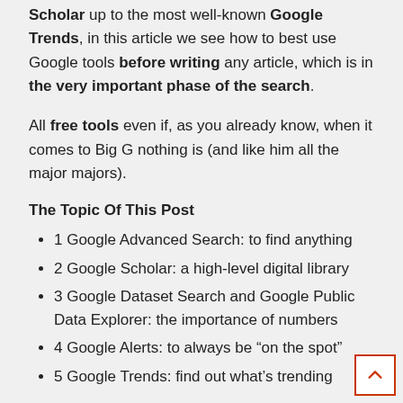Scholar up to the most well-known Google Trends, in this article we see how to best use Google tools before writing any article, which is in the very important phase of the search.
All free tools even if, as you already know, when it comes to Big G nothing is (and like him all the major majors).
The Topic Of This Post
1 Google Advanced Search: to find anything
2 Google Scholar: a high-level digital library
3 Google Dataset Search and Google Public Data Explorer: the importance of numbers
4 Google Alerts: to always be “on the spot”
5 Google Trends: find out what’s trending
Google Advanced Search: to find anything
If when you are looking for something, you just type on the white